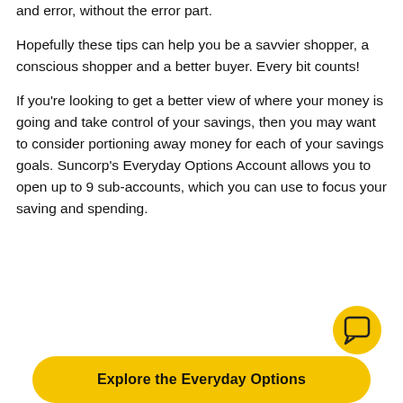and error, without the error part.
Hopefully these tips can help you be a savvier shopper, a conscious shopper and a better buyer. Every bit counts!
If you're looking to get a better view of where your money is going and take control of your savings, then you may want to consider portioning away money for each of your savings goals. Suncorp's Everyday Options Account allows you to open up to 9 sub-accounts, which you can use to focus your saving and spending.
[Figure (illustration): Yellow circular chat bubble icon button]
Explore the Everyday Options